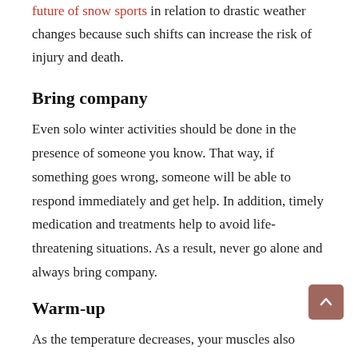future of snow sports in relation to drastic weather changes because such shifts can increase the risk of injury and death.
Bring company
Even solo winter activities should be done in the presence of someone you know. That way, if something goes wrong, someone will be able to respond immediately and get help. In addition, timely medication and treatments help to avoid life-threatening situations. As a result, never go alone and always bring company.
Warm-up
As the temperature decreases, your muscles also